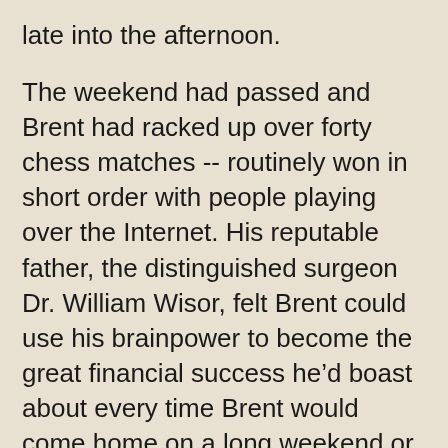late into the afternoon.
The weekend had passed and Brent had racked up over forty chess matches -- routinely won in short order with people playing over the Internet. His reputable father, the distinguished surgeon Dr. William Wisor, felt Brent could use his brainpower to become the great financial success he'd boast about every time Brent would come home on a long weekend or for the holidays.
His father had gotten Brent involved in chess when he was only four year's old. His father seemed to take an almost morbid joy in beating his son repeatedly in chess matches after dinner, when Brent began high school. If Brent had heard his father ask him this rhetorical question once, he'd heard it a